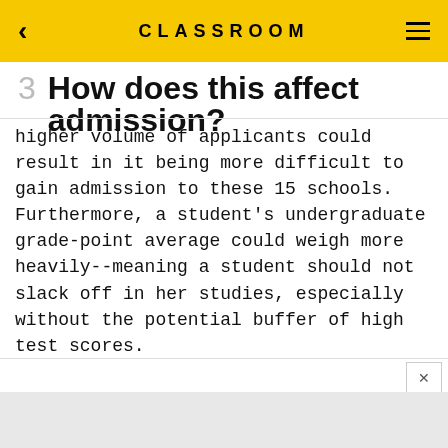CLASSROOM
3  How does this affect admission?
higher volume of applicants could result in it being more difficult to gain admission to these 15 schools. Furthermore, a student's undergraduate grade-point average could weigh more heavily--meaning a student should not slack off in her studies, especially without the potential buffer of high test scores.